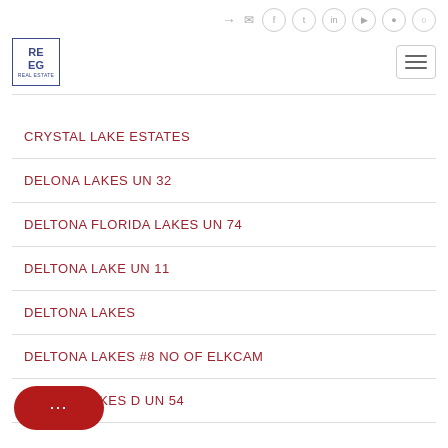REEG real estate group — navigation header with social icons and logo
CRYSTAL LAKE ESTATES
DELONA LAKES UN 32
DELTONA FLORIDA LAKES UN 74
DELTONA LAKE UN 11
DELTONA LAKES
DELTONA LAKES #8 NO OF ELKCAM
DELTONA LAKES D UN 54